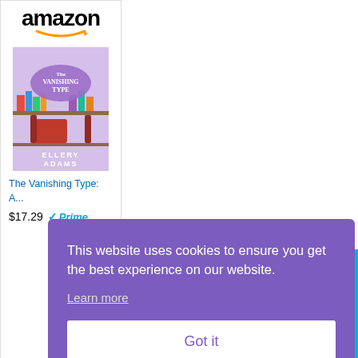[Figure (screenshot): Amazon advertisement widget showing book 'The Vanishing Type: A...' priced at $17.29 with Prime badge, book cover image, and a 'Shop now' button with Amazon logo]
This website uses cookies to ensure you get the best experience on our website.
Learn more
Got it